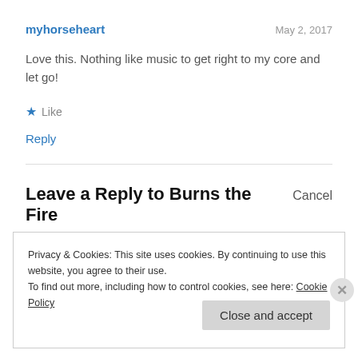myhorseheart
May 2, 2017
Love this. Nothing like music to get right to my core and let go!
★ Like
Reply
Leave a Reply to Burns the Fire
Cancel
Privacy & Cookies: This site uses cookies. By continuing to use this website, you agree to their use.
To find out more, including how to control cookies, see here: Cookie Policy
Close and accept